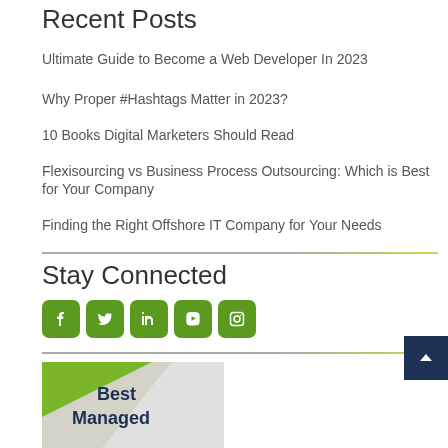Recent Posts
Ultimate Guide to Become a Web Developer In 2023
Why Proper #Hashtags Matter in 2023?
10 Books Digital Marketers Should Read
Flexisourcing vs Business Process Outsourcing: Which is Best for Your Company
Finding the Right Offshore IT Company for Your Needs
Stay Connected
[Figure (infographic): Social media icon buttons: Facebook, Twitter, LinkedIn, YouTube, Instagram — green rounded squares]
[Figure (illustration): Partial image with green and grey geometric shapes and text 'Best Managed' in dark blue bold font]